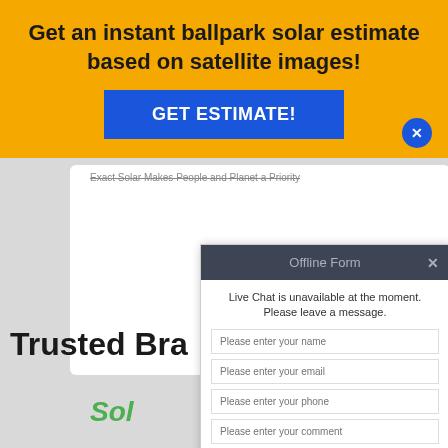Get an instant ballpark solar estimate based on satellite images!
GET ESTIMATE!
Exact Solar Makes People and Planet a Priority
Trusted Bra...
Sol...
[Figure (screenshot): Offline Form popup overlay on a solar company website. The popup has a dark header reading 'Offline Form' with a close X button, followed by text 'Live Chat is unavailable at the moment. Please leave a message.' and four input fields: 'Please enter your name', 'Please enter your email', 'Please enter your phone', 'Please enter your comment', and an orange SUBMIT button.]